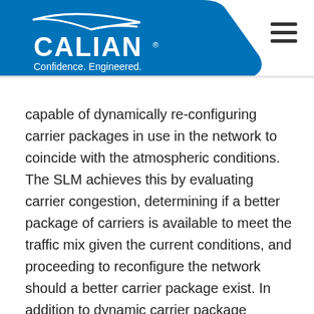CALIAN · Confidence. Engineered.
capable of dynamically re-configuring carrier packages in use in the network to coincide with the atmospheric conditions. The SLM achieves this by evaluating carrier congestion, determining if a better package of carriers is available to meet the traffic mix given the current conditions, and proceeding to reconfigure the network should a better carrier package exist. In addition to dynamic carrier package management, the SLM provides planning facilities to allow carrier packages to be designed and analyzed to ensure that the best mix of carrier packages is available for all geographic regions.